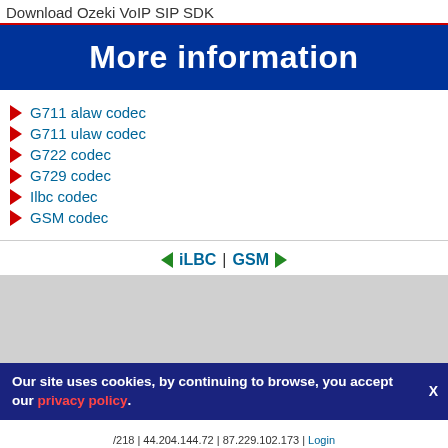Download Ozeki VoIP SIP SDK
More information
G711 alaw codec
G711 ulaw codec
G722 codec
G729 codec
Ilbc codec
GSM codec
◄ iLBC | GSM ►
Copyright © 2000-2022 | Ozeki Ltd | info@ozeki.hu | Home · Product information · Online manual · VoIP Technology · /218 | 44.204.144.72 | 87.229.102.173 | Login
Our site uses cookies, by continuing to browse, you accept our privacy policy.